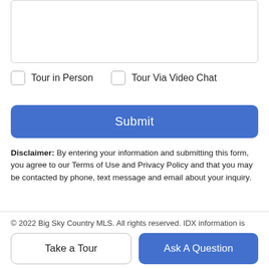[Figure (screenshot): Text input textarea with rounded border at the top of the page]
Tour in Person
Tour Via Video Chat
Submit
Disclaimer: By entering your information and submitting this form, you agree to our Terms of Use and Privacy Policy and that you may be contacted by phone, text message and email about your inquiry.
© 2022 Big Sky Country MLS. All rights reserved. IDX information is provided exclusively for consumers' personal, non-commercial use and may not be used for any purpose other than to identify prospective properties consumers may be interested in
Take a Tour
Ask A Question